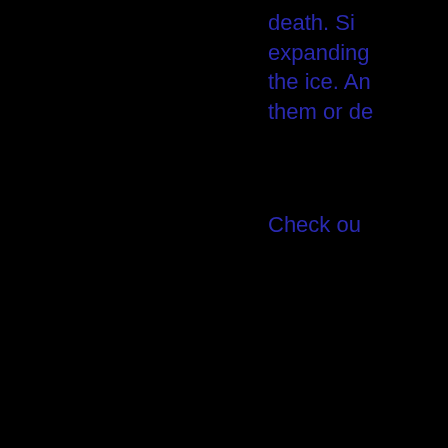death. Si expanding the ice. An them or de
Check ou